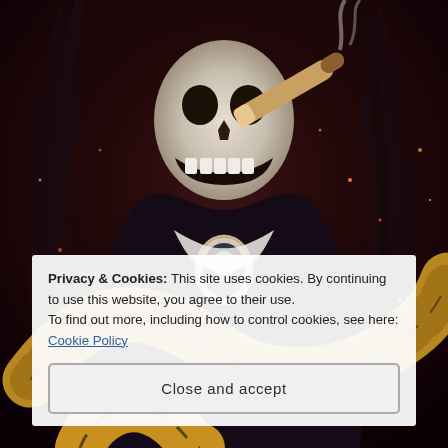[Figure (photo): Dark artistic photo of a skull-faced figure in elaborate costume holding a large cigar, draped with a large python/boa constrictor snake with yellow and black patterned scales. The figure wears dark clothing with a skull cameo brooch and has long dark hair. Background has sparks/embers and a dark reddish atmospheric tone.]
Privacy & Cookies: This site uses cookies. By continuing to use this website, you agree to their use.
To find out more, including how to control cookies, see here: Cookie Policy
Close and accept